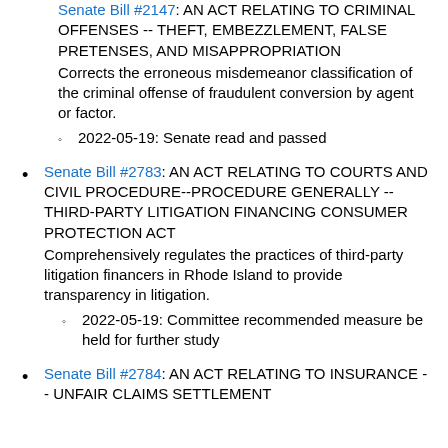Senate Bill #2147[partial]: AN ACT RELATING TO CRIMINAL OFFENSES -- THEFT, EMBEZZLEMENT, FALSE PRETENSES, AND MISAPPROPRIATION Corrects the erroneous misdemeanor classification of the criminal offense of fraudulent conversion by agent or factor. 2022-05-19: Senate read and passed
Senate Bill #2783: AN ACT RELATING TO COURTS AND CIVIL PROCEDURE--PROCEDURE GENERALLY -- THIRD-PARTY LITIGATION FINANCING CONSUMER PROTECTION ACT Comprehensively regulates the practices of third-party litigation financers in Rhode Island to provide transparency in litigation. 2022-05-19: Committee recommended measure be held for further study
Senate Bill #2784: AN ACT RELATING TO INSURANCE -- UNFAIR CLAIMS SETTLEMENT [partial]